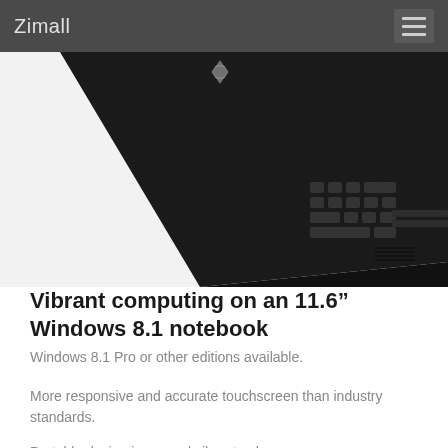Zimall
[Figure (photo): Black laptop computer shown from above at an angle, displaying the keyboard and partially open lid with a logo visible, on a white background.]
Vibrant computing on an 11.6” Windows 8.1 notebook
Windows 8.1 Pro or other editions available.
More responsive and accurate touchscreen than industry standards.
Portable design in several vibrant colors.